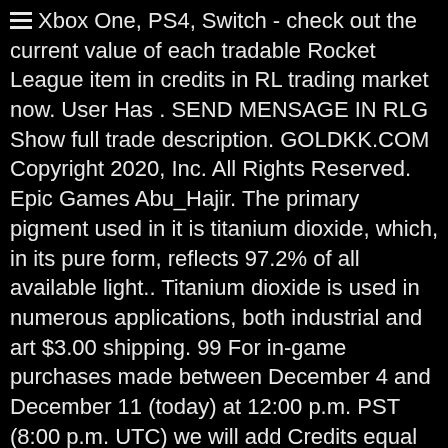☰ Xbox One, PS4, Switch - check out the current value of each tradable Rocket League item in credits in RL trading market now. User Has . SEND MENSAGE IN RLG Show full trade description. GOLDKK.COM Copyright 2020, Inc. All Rights Reserved. Epic Games Abu_Hajir. The primary pigment used in it is titanium dioxide, which, in its pure form, reflects 97.2% of all available light.. Titanium dioxide is used in numerous applications, both industrial and art $3.00 shipping. 99 For in-game purchases made between December 4 and December 11 (today) at 12:00 p.m. PST (8:00 p.m. UTC) we will add Credits equal to any difference in price directly to your account. Price and other details may vary based on size and color. AboHajir . Breakout – Titanium White Turtle, Crimson. No Price for Trigon in the Database. Titanium Industries offers a wide variety of specialty metal processing capabilities with the objective of reducing costs and cycle times...